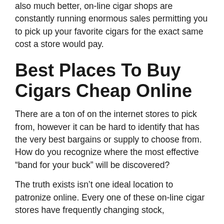also much better, on-line cigar shops are constantly running enormous sales permitting you to pick up your favorite cigars for the exact same cost a store would pay.
Best Places To Buy Cigars Cheap Online
There are a ton of on the internet stores to pick from, however it can be hard to identify that has the very best bargains or supply to choose from. How do you recognize where the most effective “band for your buck” will be discovered?
The truth exists isn’t one ideal location to patronize online. Every one of these on-line cigar stores have frequently changing stock,